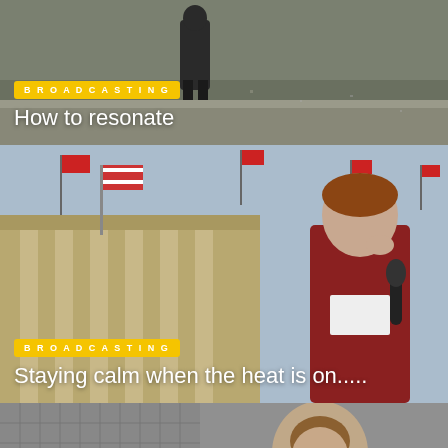[Figure (photo): Top card: person sitting outdoors on stone steps, grayscale/muted background]
BROADCASTING
How to resonate
[Figure (photo): Middle card: female journalist/reporter holding microphone to ear, American flag and building columns in background, red Chinese flags visible]
BROADCASTING
Staying calm when the heat is on.....
[Figure (photo): Bottom card: smiling woman in dark jacket with other people in background, partially visible]